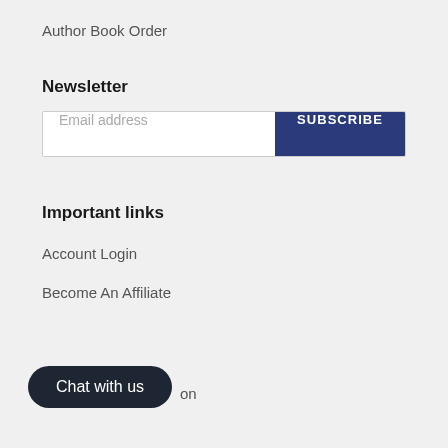Author Book Order
Newsletter
Email address  SUBSCRIBE
Important links
Account Login
Become An Affiliate
Chat with us  on
Bookstores